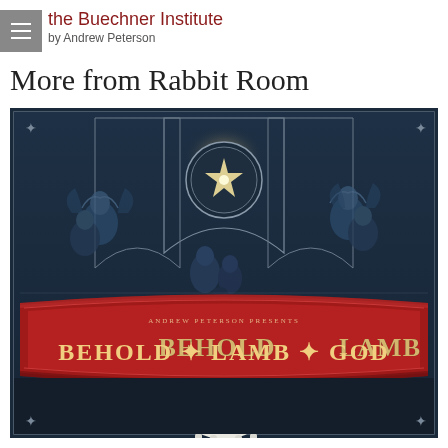the Buechner Institute by Andrew Peterson
More from Rabbit Room
[Figure (illustration): Book cover for 'Behold the Lamb of God' presented by Andrew Peterson. Dark navy blue illustrated cover featuring gothic arch window designs with angels and nativity figures in bluish tones. A large red banner across the lower half reads 'ANDREW PETERSON PRESENTS BEHOLD THE LAMB OF GOD' in ornate lettering. A white lamb is depicted at the bottom of the cover.]